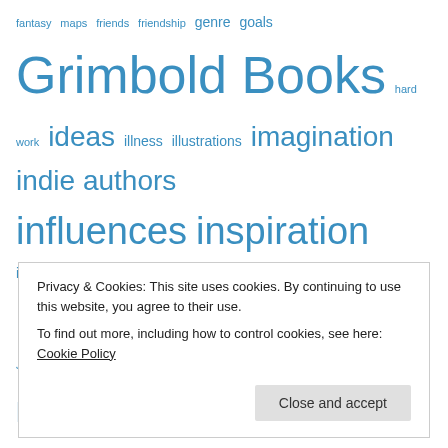[Figure (infographic): Tag cloud with words of varying sizes in blue, including: fantasy, maps, friends, friendship, genre, goals, Grimbold Books, hard work, ideas, illness, illustrations, imagination, indie authors, influences, inspiration, inspirations, interviewees, interview series, Joanne Hall, journey, Katrina Jack, Kristell Ink, landscapes, life, literature, living, magic, maps, marketing, nature, new books, New Zealand, novels, photography, poems, poetry, publisher's, publishing, Sammy HK Smith, science-fiction, self-discovery, Sophie E Tallis, Sophie E Tallis Illustrations, stories, survivor, Susan]
Privacy & Cookies: This site uses cookies. By continuing to use this website, you agree to their use.
To find out more, including how to control cookies, see here: Cookie Policy